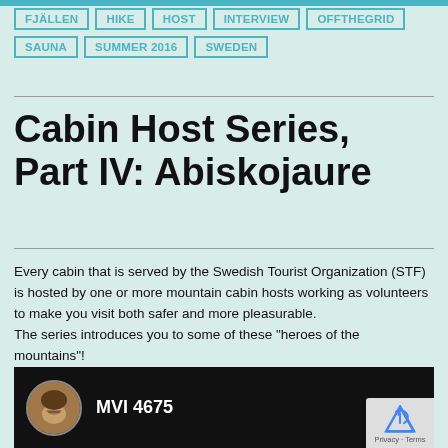FJÄLLEN
HIKE
HOST
INTERVIEW
OFFTHEGRID
SAUNA
SUMMER 2016
SWEDEN
Cabin Host Series, Part IV: Abiskojaure
Every cabin that is served by the Swedish Tourist Organization (STF) is hosted by one or more mountain cabin hosts working as volunteers to make you visit both safer and more pleasurable. The series introduces you to some of these “heroes of the mountains”! Meet Bosse in Alesjaure:
[Figure (screenshot): Video thumbnail showing a man with curly hair and a mustache in a circular avatar, with text 'MVI 4675' on a dark background. A reCAPTCHA badge is visible in the bottom right corner.]